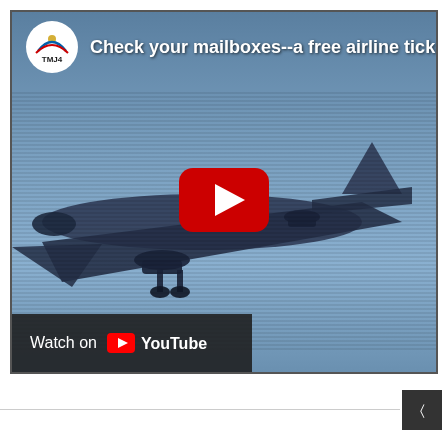[Figure (screenshot): YouTube video thumbnail showing a silhouette of an airplane against a blue-grey sky. The video is from TMJ4 (NBC affiliate). Title reads 'Check your mailboxes--a free airline ticket sca'. A red YouTube play button is centered on the image. A dark bar at the bottom left reads 'Watch on YouTube'.]